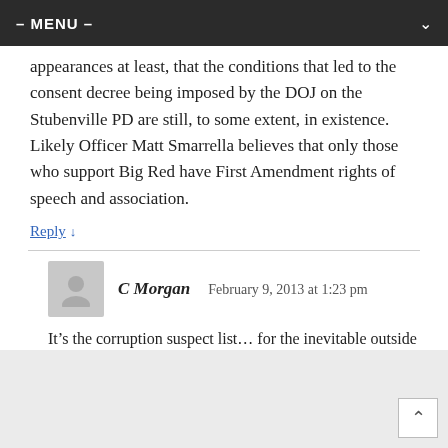– MENU –
appearances at least, that the conditions that led to the consent decree being imposed by the DOJ on the Stubenville PD are still, to some extent, in existence. Likely Officer Matt Smarrella believes that only those who support Big Red have First Amendment rights of speech and association.
Reply ↓
C Morgan   February 9, 2013 at 1:23 pm
It's the corruption suspect list… for the inevitable outside investigation, teehee! (:
Reply ↓